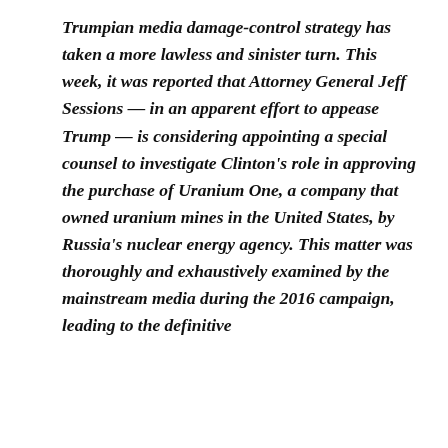Trumpian media damage-control strategy has taken a more lawless and sinister turn. This week, it was reported that Attorney General Jeff Sessions — in an apparent effort to appease Trump — is considering appointing a special counsel to investigate Clinton's role in approving the purchase of Uranium One, a company that owned uranium mines in the United States, by Russia's nuclear energy agency. This matter was thoroughly and exhaustively examined by the mainstream media during the 2016 campaign, leading to the definitive